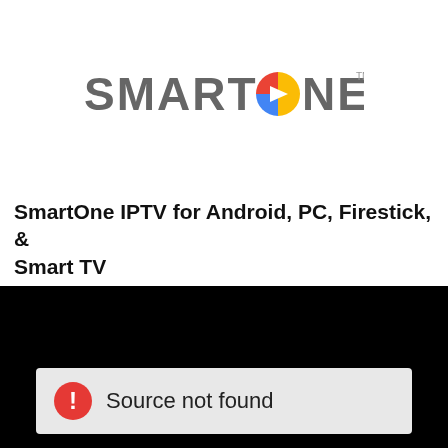[Figure (logo): SmartOne IPTV logo with colored play button icon replacing the letter O]
SmartOne IPTV for Android, PC, Firestick, & Smart TV
[Figure (screenshot): Black video player area showing a 'Source not found' error message with a red warning icon]